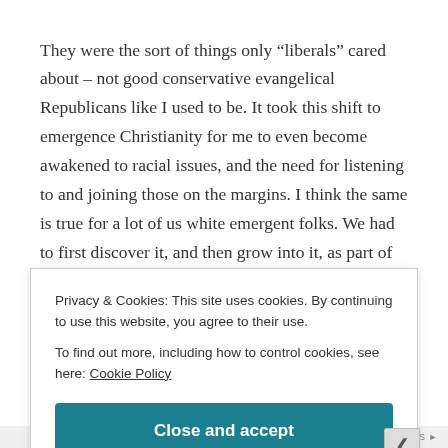They were the sort of things only "liberals" cared about – not good conservative evangelical Republicans like I used to be. It took this shift to emergence Christianity for me to even become awakened to racial issues, and the need for listening to and joining those on the margins. I think the same is true for a lot of us white emergent folks. We had to first discover it, and then grow into it, as part of our emerging journey. That's a big part of why I'm asking you to still be
Privacy & Cookies: This site uses cookies. By continuing to use this website, you agree to their use.
To find out more, including how to control cookies, see here: Cookie Policy
Close and accept